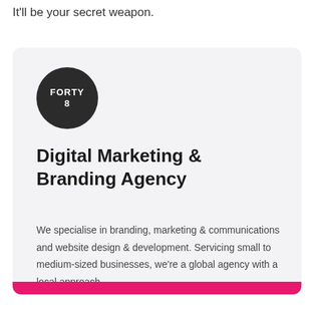It'll be your secret weapon.
[Figure (logo): FORTY8 logo — white bold text on dark circle]
Digital Marketing & Branding Agency
We specialise in branding, marketing & communications and website design & development. Servicing small to medium-sized businesses, we're a global agency with a local approach.